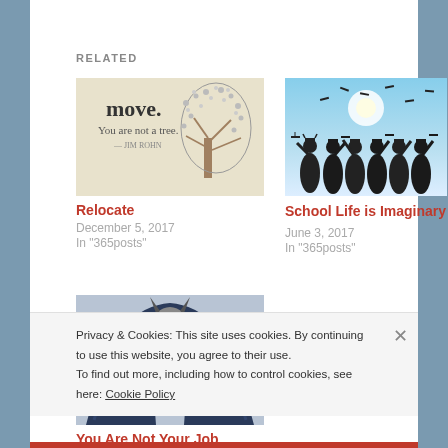RELATED
[Figure (photo): Motivational image with 'move. You are not a tree. - Jim Rohn' text and a tree illustration]
Relocate
December 5, 2017
In "365posts"
[Figure (photo): Silhouette of graduates tossing caps in the air against a bright sky]
School Life is Imaginary
June 3, 2017
In "365posts"
[Figure (illustration): Batman action figure illustration in blue and grey costume]
You Are Not Your Job
Privacy & Cookies: This site uses cookies. By continuing to use this website, you agree to their use.
To find out more, including how to control cookies, see here: Cookie Policy
Close and accept